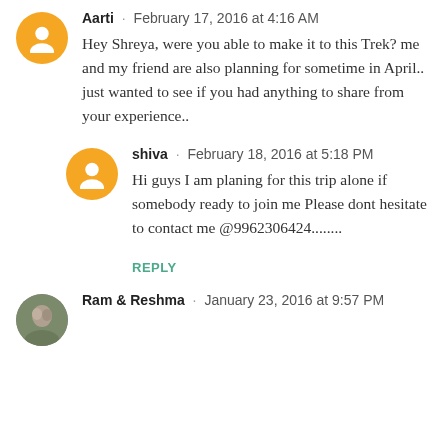Aarti · February 17, 2016 at 4:16 AM
Hey Shreya, were you able to make it to this Trek? me and my friend are also planning for sometime in April.. just wanted to see if you had anything to share from your experience..
shiva · February 18, 2016 at 5:18 PM
Hi guys I am planing for this trip alone if somebody ready to join me Please dont hesitate to contact me @9962306424........
REPLY
Ram & Reshma · January 23, 2016 at 9:57 PM